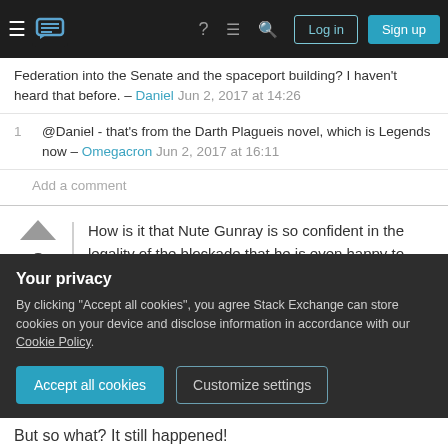Stack Exchange navigation bar with Log in and Sign up buttons
Federation into the Senate and the spaceport building? I haven't heard that before. – Daniel Jun 2, 2017 at 14:26
1 @Daniel - that's from the Darth Plagueis novel, which is Legends now – Omegacron Jun 2, 2017 at 16:11
Add a comment
How is it that Nute Gunray is so confident in the legality of the blockade that he is even happy to negotiate with ambassadors (that
Your privacy
By clicking "Accept all cookies", you agree Stack Exchange can store cookies on your device and disclose information in accordance with our Cookie Policy.
Accept all cookies
Customize settings
But so what? It still happened!